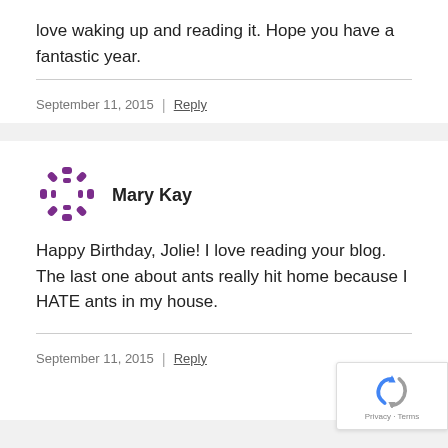love waking up and reading it. Hope you have a fantastic year.
September 11, 2015 | Reply
[Figure (logo): Mary Kay purple dotted circular logo]
Mary Kay
Happy Birthday, Jolie! I love reading your blog. The last one about ants really hit home because I HATE ants in my house.
September 11, 2015 | Reply
[Figure (logo): Google reCAPTCHA badge with Privacy and Terms links]